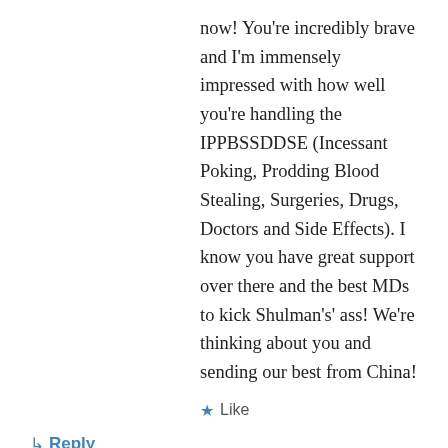now! You're incredibly brave and I'm immensely impressed with how well you're handling the IPPBSSDDSE (Incessant Poking, Prodding Blood Stealing, Surgeries, Drugs, Doctors and Side Effects). I know you have great support over there and the best MDs to kick Shulman's' ass! We're thinking about you and sending our best from China!
★ Like
↳ Reply
tootlebear on August 19, 2012 at 4:09 pm
Joselyn,
Your energy and spirits will be a great help to you, and it sounds like you have a great team of